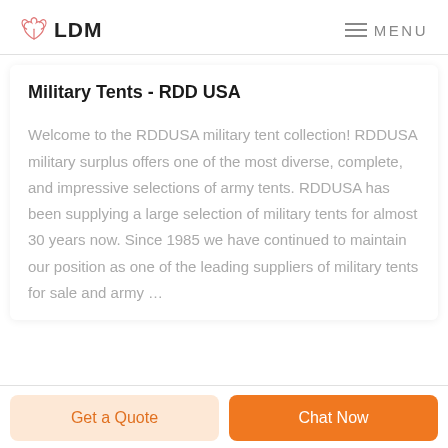LDM  MENU
Military Tents - RDD USA
Welcome to the RDDUSA military tent collection! RDDUSA military surplus offers one of the most diverse, complete, and impressive selections of army tents. RDDUSA has been supplying a large selection of military tents for almost 30 years now. Since 1985 we have continued to maintain our position as one of the leading suppliers of military tents for sale and army …
Get a Quote
Chat Now